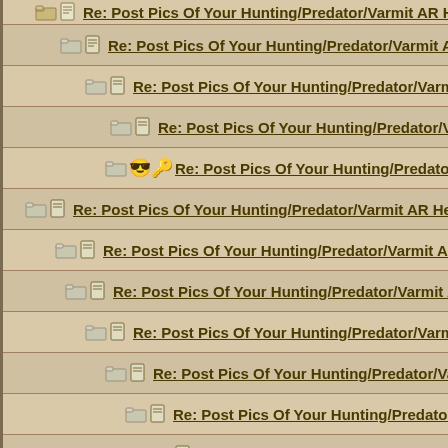Re: Post Pics Of Your Hunting/Predator/Varmit AR Here !!
Re: Post Pics Of Your Hunting/Predator/Varmit AR Here !!
Re: Post Pics Of Your Hunting/Predator/Varmit AR He
Re: Post Pics Of Your Hunting/Predator/Varmit AR H
Re: Post Pics Of Your Hunting/Predator/Varmit AR He
Re: Post Pics Of Your Hunting/Predator/Varmit AR Here !!
Re: Post Pics Of Your Hunting/Predator/Varmit AR Here !!
Re: Post Pics Of Your Hunting/Predator/Varmit AR Here !!
Re: Post Pics Of Your Hunting/Predator/Varmit AR Here
Re: Post Pics Of Your Hunting/Predator/Varmit AR He
Re: Post Pics Of Your Hunting/Predator/Varmit AR H
Re: Post Pics Of Your Hunting/Predator/Varmit AR
Re: Post Pics Of Your Hunting/Predator/Varmit
Re: Post Pics Of Your Hunting/Predator/Varmit AR Here !!
Re: Post Pics Of Your Hunting/Predator/Varmit AR Here !!
Re: Post Pics Of Your Hunting/Predator/Varmit AR Here !!
Re: Post Pics Of Your Hunting/Predator/Varmit AR Here !!
Re: Post Pics Of Your Hunting/Predator/Varmit AR Here